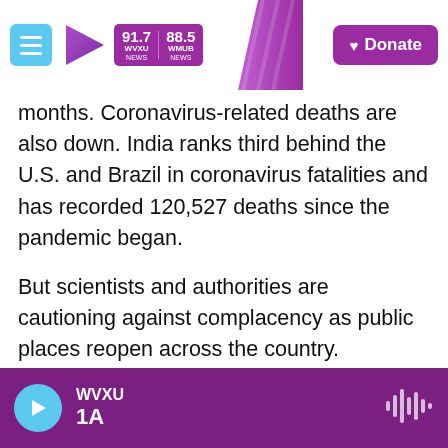WVXU 91.7 NEWS | WMUB 88.5 NEWS | Donate
months. Coronavirus-related deaths are also down. India ranks third behind the U.S. and Brazil in coronavirus fatalities and has recorded 120,527 deaths since the pandemic began.
But scientists and authorities are cautioning against complacency as public places reopen across the country.
"This is not the time to think that corona has gone away or that corona isn't dangerous anymore," Prime Minister Narendra Modi warned Indians in a televised address last week as the Hindu festival
WVXU 1A